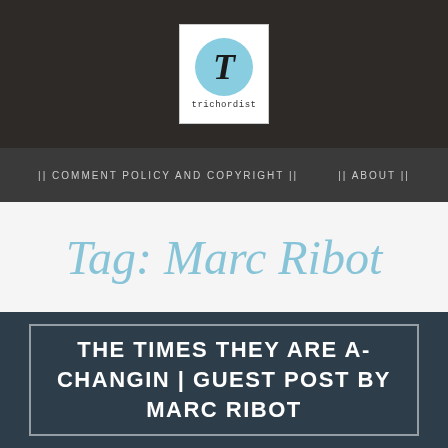[Figure (logo): Trichordist logo: white box containing a light blue circle with a stylized italic T, and the word 'trichordist' below in monospace text]
|| COMMENT POLICY AND COPYRIGHT ||     || ABOUT ||
Tag: Marc Ribot
THE TIMES THEY ARE A-CHANGIN | GUEST POST BY MARC RIBOT